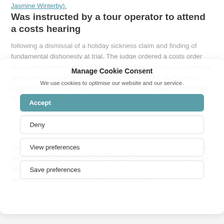Jasmine Winterby).
Was instructed by a tour operator to attend a costs hearing
following a dismissal of a holiday sickness claim and finding of fundamental dishonesty at trial. The judge ordered a costs order but queried whether she should exercise her discretion to make the defendant's cost order enforceable under CPR 44.16. Following Jasmine's written and oral submissions the Judge gave permission to the Defendant to enforce the costs order of over £12,000.
Jasmine was also recently instructed in an equine case where the claimant suffered two horse-related injuries at work. The case was valued by the claimant at over £2,000,000 but resolved at a JSM with Jasmine as part of the defendant's team.
Gemma Witherington: